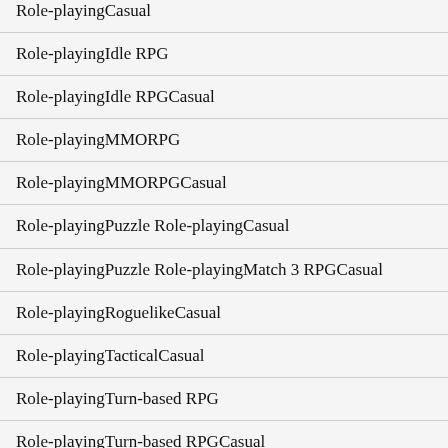Role-playingCasual
Role-playingIdle RPG
Role-playingIdle RPGCasual
Role-playingMMORPG
Role-playingMMORPGCasual
Role-playingPuzzle Role-playingCasual
Role-playingPuzzle Role-playingMatch 3 RPGCasual
Role-playingRoguelikeCasual
Role-playingTacticalCasual
Role-playingTurn-based RPG
Role-playingTurn-based RPGCasual
Sho...